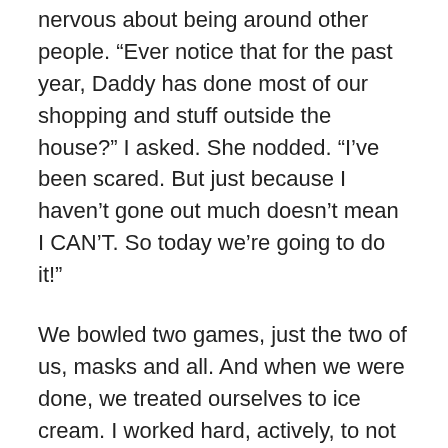nervous about being around other people. “Ever notice that for the past year, Daddy has done most of our shopping and stuff outside the house?” I asked. She nodded. “I’ve been scared. But just because I haven’t gone out much doesn’t mean I CAN’T. So today we’re going to do it!”
We bowled two games, just the two of us, masks and all. And when we were done, we treated ourselves to ice cream. I worked hard, actively, to not let any of it bother me. Not the having to wear a mask, not the interacting with the bowling alley staff, not the ordering or paying for ice cream. I made a choice to not poison her with my anxiety. Instead, I fed her a steady diet of positivity and lightheartedness. And it worked. “That was a lot of fun and I wasn’t even that nervous. Thanks for being my date,” I smiled at her in the rear view mirror as we pulled back into